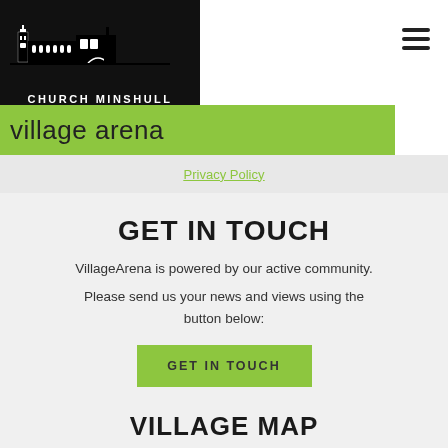[Figure (logo): Church Minshull Village Arena logo — black silhouette of church buildings with text CHURCH MINSHULL above a green banner reading 'village arena']
Privacy Policy
GET IN TOUCH
VillageArena is powered by our active community.
Please send us your news and views using the button below:
GET IN TOUCH
VILLAGE MAP